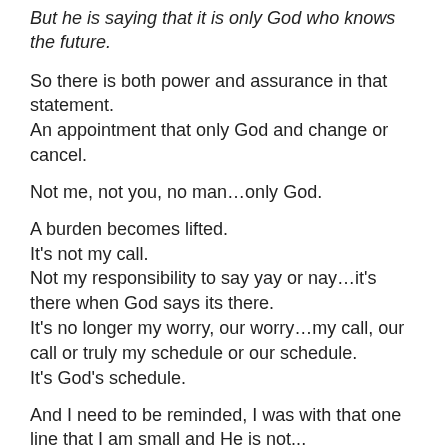But he is saying that it is only God who knows the future.
So there is both power and assurance in that statement. An appointment that only God and change or cancel.
Not me, not you, no man…only God.
A burden becomes lifted.
It's not my call.
Not my responsibility to say yay or nay…it's there when God says its there.
It's no longer my worry, our worry…my call, our call or truly my schedule or our schedule.
It's God's schedule.
And I need to be reminded, I was with that one line that I am small and He is not...
God's power over death… so much greater than anything